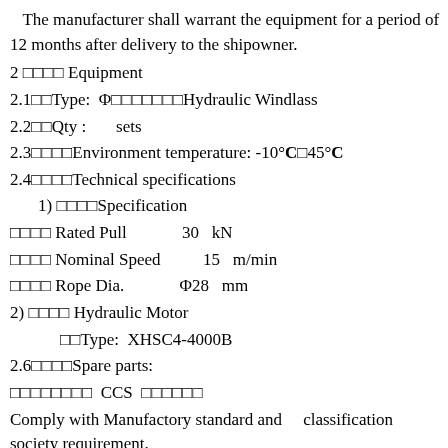The manufacturer shall warrant the equipment for a period of 12 months after delivery to the shipowner.
2 □□□□ Equipment
2.1□□Type: Φ□□□□□□□Hydraulic Windlass
2.2□□Qty :    sets
2.3□□□□Environment temperature: -10°C□45°C
2.4□□□□Technical specifications
1) □□□□Specification
□□□□ Rated Pull    30  kN
□□□□ Nominal Speed    15  m/min
□□□□ Rope Dia.    Φ28  mm
2) □□□□ Hydraulic Motor
□□Type: XHSC4-4000B
2.6□□□□Spare parts:
□□□□□□□□ CCS □□□□□□
Comply with Manufactory standard and    classification society requirement.